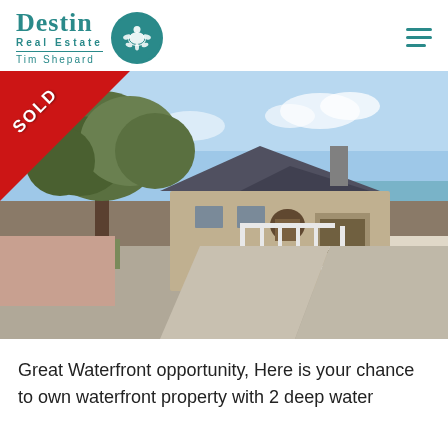[Figure (logo): Destin Real Estate Tim Shepard logo with teal text and turtle circle icon, plus hamburger menu icon]
[Figure (photo): Waterfront property photo showing a stone/stucco house with ornate white iron gate, driveway, large oak trees, and water visible in the background. A red SOLD banner is overlaid on the top-left corner.]
Great Waterfront opportunity, Here is your chance to own waterfront property with 2 deep water